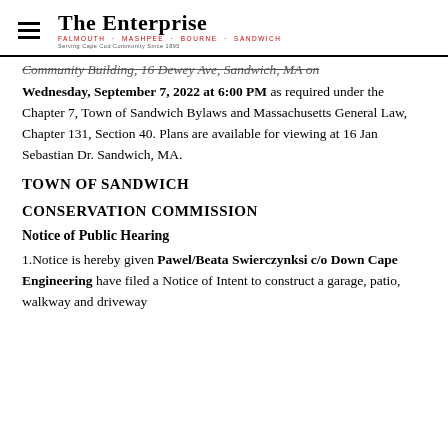The Enterprise — FALMOUTH · MASHPEE · BOURNE · SANDWICH — Serving Cape Cod Community Since 1895
Community Building, 16 Dewey Ave, Sandwich, MA on
Wednesday, September 7, 2022 at 6:00 PM as required under the Chapter 7, Town of Sandwich Bylaws and Massachusetts General Law, Chapter 131, Section 40. Plans are available for viewing at 16 Jan Sebastian Dr. Sandwich, MA.
TOWN OF SANDWICH
CONSERVATION COMMISSION
Notice of Public Hearing
1.Notice is hereby given Pawel/Beata Swierczynksi c/o Down Cape Engineering have filed a Notice of Intent to construct a garage, patio, walkway and driveway